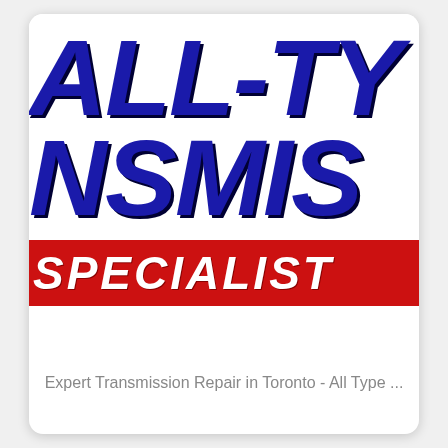[Figure (logo): All-Type Transmission Specialists logo — large bold italic blue text 'ALL-TY' on first line, 'NSMIS' on second line, with a red banner reading 'SPECIALIST' in white bold italic letters beneath. Logo is cropped at right edge.]
Expert Transmission Repair in Toronto - All Type ...